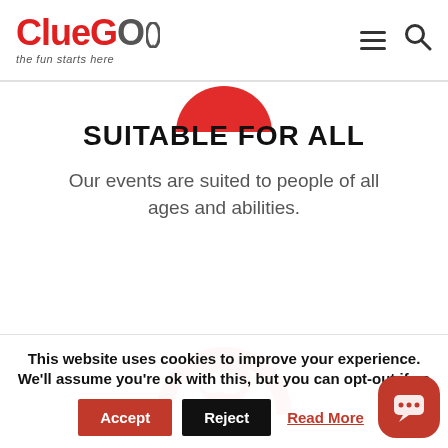[Figure (logo): ClueGo logo with tagline 'the fun starts here']
[Figure (illustration): Partial red circular icon visible at top, partially cropped]
SUITABLE FOR ALL
Our events are suited to people of all ages and abilities.
[Figure (illustration): Red arch/pin icon partially visible at bottom]
This website uses cookies to improve your experience. We'll assume you're ok with this, but you can opt-out if yo
[Figure (illustration): Red chat bubble icon in bottom right corner]